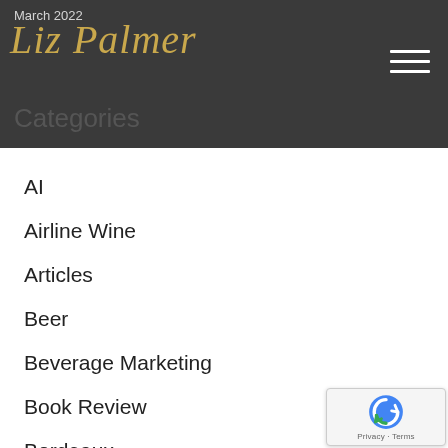March 2022
Liz Palmer
Categories
AI
Airline Wine
Articles
Beer
Beverage Marketing
Book Review
Bordeaux
British Columbia
Burgundy
California Wine